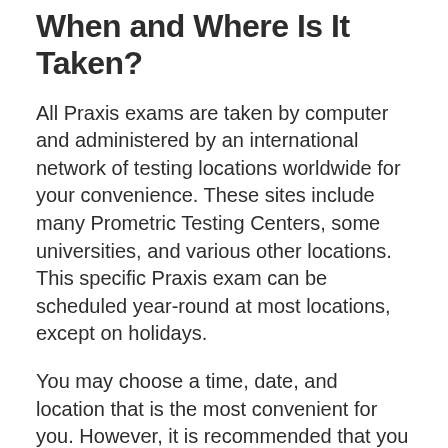When and Where Is It Taken?
All Praxis exams are taken by computer and administered by an international network of testing locations worldwide for your convenience. These sites include many Prometric Testing Centers, some universities, and various other locations. This specific Praxis exam can be scheduled year-round at most locations, except on holidays.
You may choose a time, date, and location that is the most convenient for you. However, it is recommended that you schedule this date as soon as possible because seating and space are limited in most locations and is filled on a first come,